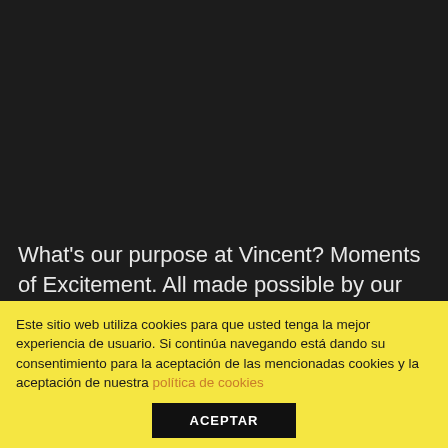[Figure (photo): Dark background image area (mostly black/dark gray) taking up the upper portion of the page]
What's our purpose at Vincent? Moments of Excitement. All made possible by our flavor, innovation and, most importantly, by unlocking potential in our team members.
With more than 50 years of experience under our belts, we understand how to best serve our customers through
Este sitio web utiliza cookies para que usted tenga la mejor experiencia de usuario. Si continúa navegando está dando su consentimiento para la aceptación de las mencionadas cookies y la aceptación de nuestra política de cookies
ACEPTAR